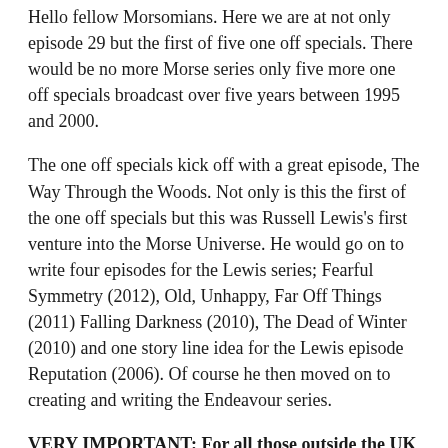Hello fellow Morsomians. Here we are at not only episode 29 but the first of five one off specials. There would be no more Morse series only five more one off specials broadcast over five years between 1995 and 2000.
The one off specials kick off with a great episode, The Way Through the Woods. Not only is this the first of the one off specials but this was Russell Lewis's first venture into the Morse Universe. He would go on to write four episodes for the Lewis series; Fearful Symmetry (2012), Old, Unhappy, Far Off Things (2011) Falling Darkness (2010), The Dead of Winter (2010) and one story line idea for the Lewis episode Reputation (2006). Of course he then moved on to creating and writing the Endeavour series.
VERY IMPORTANT: For all those outside the UK you should be aware that the UK British Summer Time has ended and we are now on GMT. This means that the